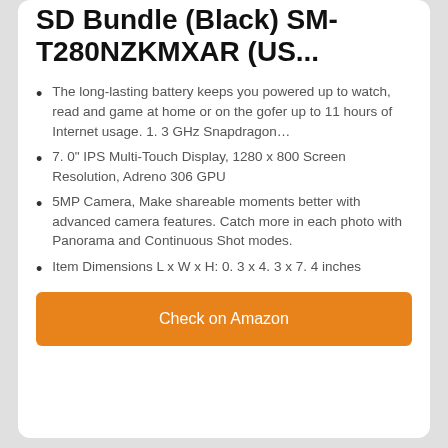SD Bundle (Black) SM-T280NZKMXAR (US...
The long-lasting battery keeps you powered up to watch, read and game at home or on the gofer up to 11 hours of Internet usage. 1. 3 GHz Snapdragon…
7. 0" IPS Multi-Touch Display, 1280 x 800 Screen Resolution, Adreno 306 GPU
5MP Camera, Make shareable moments better with advanced camera features. Catch more in each photo with Panorama and Continuous Shot modes.
Item Dimensions L x W x H: 0. 3 x 4. 3 x 7. 4 inches
Check on Amazon